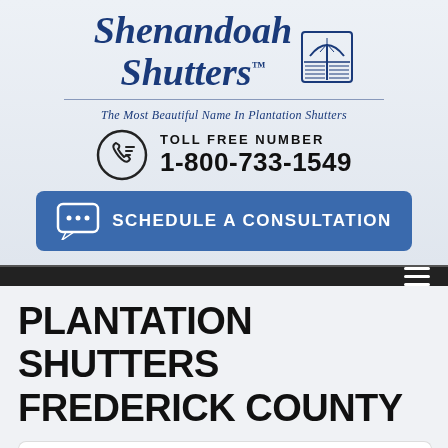[Figure (logo): Shenandoah Shutters logo with cursive blue text, window icon, and tagline 'The Most Beautiful Name In Plantation Shutters']
TOLL FREE NUMBER
1-800-733-1549
[Figure (infographic): Blue rounded rectangle button with message icon and text 'SCHEDULE A CONSULTATION']
[Figure (infographic): Dark navigation bar with hamburger menu icon on right]
PLANTATION SHUTTERS FREDERICK COUNTY